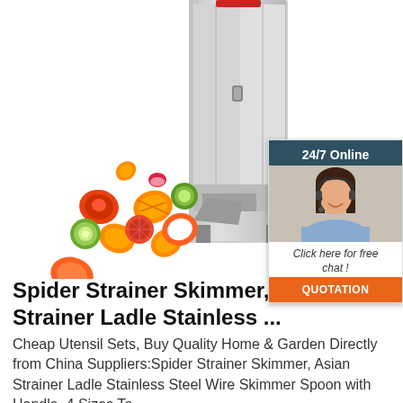[Figure (photo): Commercial stainless steel vegetable cutting machine with sliced vegetables (carrots, tomatoes, cucumbers) flying out, on white background. A '24/7 Online' chat widget with a customer service agent photo is overlaid on the right side, with 'Click here for free chat!' text and an orange 'QUOTATION' button.]
Spider Strainer Skimmer, Asian Strainer Ladle Stainless ...
Cheap Utensil Sets, Buy Quality Home & Garden Directly from China Suppliers:Spider Strainer Skimmer, Asian Strainer Ladle Stainless Steel Wire Skimmer Spoon with Handle. 4 Sizes To